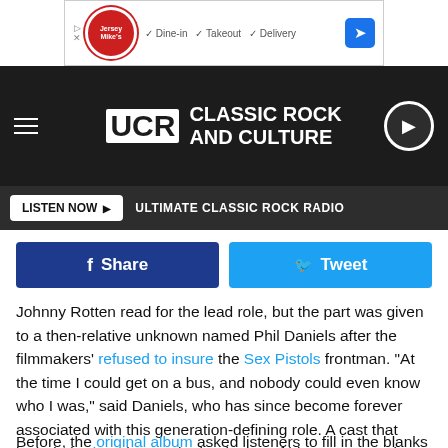[Figure (screenshot): Jersey Mike's advertisement banner with logo, dine-in/takeout/delivery options]
UCR CLASSIC ROCK AND CULTURE
LISTEN NOW ▶  ULTIMATE CLASSIC ROCK RADIO
f Share    Tweet
Johnny Rotten read for the lead role, but the part was given to a then-relative unknown named Phil Daniels after the filmmakers' refused to insure the Sex Pistols frontman. "At the time I could get on a bus, and nobody could even know who I was," said Daniels, who has since become forever associated with this generation-defining role. A cast that included Sting, then at the beginning of his own career in rock, then began reshaping Quadrophenia.
Before, the original album asked listeners to fill in the blanks